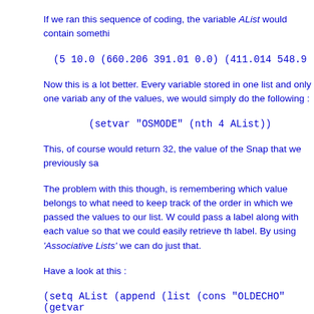If we ran this sequence of coding, the variable AList would contain somethi
Now this is a lot better. Every variable stored in one list and only one variab any of the values, we would simply do the following :
This, of course would return 32, the value of the Snap that we previously sa
The problem with this though, is remembering which value belongs to what need to keep track of the order in which we passed the values to our list. W could pass a label along with each value so that we could easily retrieve th label. By using 'Associative Lists' we can do just that.
Have a look at this :